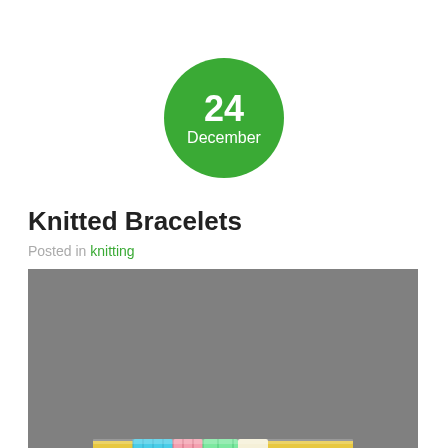[Figure (infographic): Green circle with white text showing date: 24 December]
Knitted Bracelets
Posted in knitting
[Figure (photo): Photo of a colorful knitted bracelet against a grey background. The bracelet is multicolored with blue, pink, green, yellow and white yarn.]